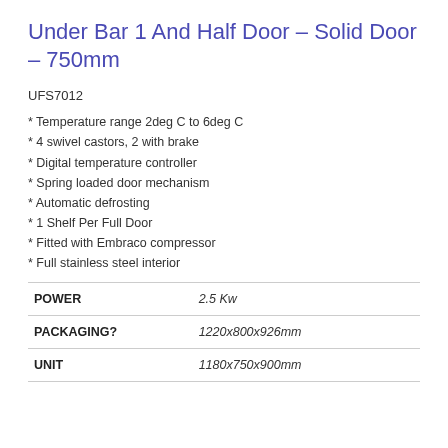Under Bar 1 And Half Door – Solid Door – 750mm
UFS7012
* Temperature range 2deg C to 6deg C
* 4 swivel castors, 2 with brake
* Digital temperature controller
* Spring loaded door mechanism
* Automatic defrosting
* 1 Shelf Per Full Door
* Fitted with Embraco compressor
* Full stainless steel interior
|  |  |
| --- | --- |
| POWER | 2.5 Kw |
| PACKAGING? | 1220x800x926mm |
| UNIT | 1180x750x900mm |